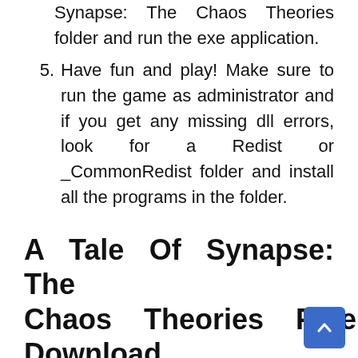Synapse: The Chaos Theories folder and run the exe application.
5. Have fun and play! Make sure to run the game as administrator and if you get any missing dll errors, look for a Redist or _CommonRedist folder and install all the programs in the folder.
A Tale Of Synapse: The Chaos Theories Free Download
Click the download button below to start A Tale Of Synapse: The Chaos Theories Free Download with direct link. It is the full version of the game. Don't forget to run the game as